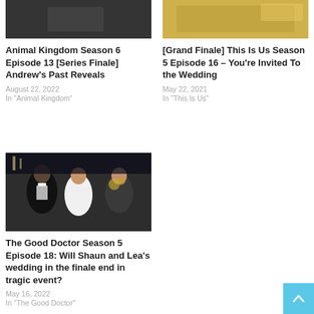[Figure (photo): Dark scene TV show screenshot - Animal Kingdom]
Animal Kingdom Season 6 Episode 13 [Series Finale] Andrew's Past Reveals
August 22, 2022
In "Animal Kingdom"
[Figure (photo): Yellow/warm toned TV show screenshot - This Is Us wedding scene]
[Grand Finale] This Is Us Season 5 Episode 16 – You're Invited To the Wedding
May 22, 2021
In "This Is Us"
[Figure (photo): The Good Doctor wedding scene - Shaun and Lea with officiant]
The Good Doctor Season 5 Episode 18: Will Shaun and Lea's wedding in the finale end in tragic event?
May 16, 2022
In "The Good Doctor"